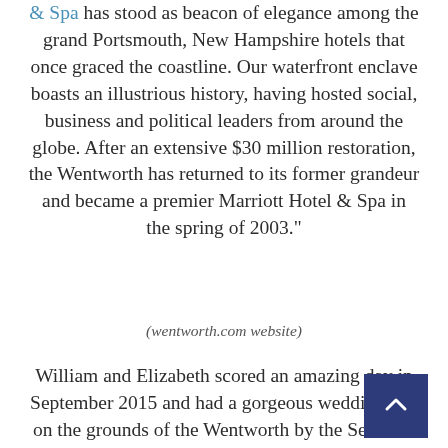& Spa has stood as beacon of elegance among the grand Portsmouth, New Hampshire hotels that once graced the coastline. Our waterfront enclave boasts an illustrious history, having hosted social, business and political leaders from around the globe. After an extensive $30 million restoration, the Wentworth has returned to its former grandeur and became a premier Marriott Hotel & Spa in the spring of 2003."
(wentworth.com website)
William and Elizabeth scored an amazing day in September 2015 and had a gorgeous wedding day on the grounds of the Wentworth by the Sea. The lovely couple's wedding was shot by Douglas Levy Photography and l